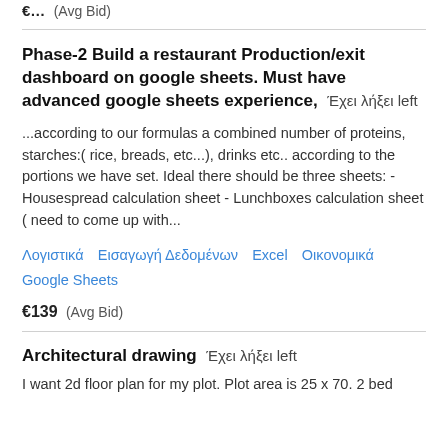€… (Avg Bid)
Phase-2 Build a restaurant Production/exit dashboard on google sheets. Must have advanced google sheets experience,  Έχει λήξει left
...according to our formulas a combined number of proteins, starches:( rice, breads, etc...), drinks etc.. according to the portions we have set. Ideal there should be three sheets: - Housespread calculation sheet - Lunchboxes calculation sheet ( need to come up with...
Λογιστικά   Εισαγωγή Δεδομένων   Excel   Οικονομικά   Google Sheets
€139  (Avg Bid)
Architectural drawing  Έχει λήξει left
I want 2d floor plan for my plot. Plot area is 25 x 70. 2 bed